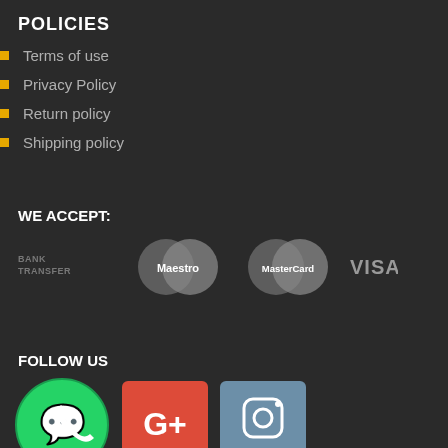POLICIES
Terms of use
Privacy Policy
Return policy
Shipping policy
WE ACCEPT:
[Figure (infographic): Payment method logos: Bank Transfer, Maestro, MasterCard, VISA]
FOLLOW US
[Figure (infographic): Social media icons: WhatsApp (green circle), Google+ (red square), Instagram (blue-grey square)]